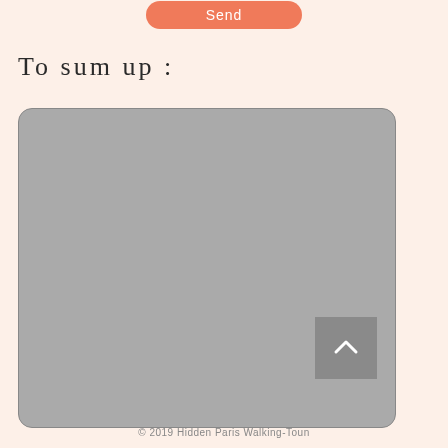[Figure (screenshot): A coral/salmon colored rounded Send button at the top of the page]
To sum up:
[Figure (other): A large gray rounded rectangle box (image placeholder or video area), with a darker gray scroll-to-top button in the bottom-right corner showing an upward chevron arrow]
© 2019 Hidden Paris Walking-Toun